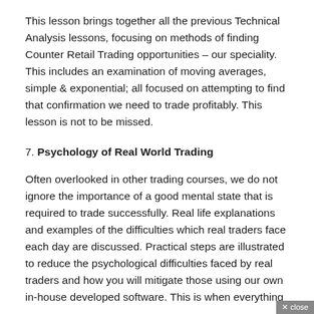This lesson brings together all the previous Technical Analysis lessons, focusing on methods of finding Counter Retail Trading opportunities – our speciality. This includes an examination of moving averages, simple & exponential; all focused on attempting to find that confirmation we need to trade profitably. This lesson is not to be missed.
7. Psychology of Real World Trading
Often overlooked in other trading courses, we do not ignore the importance of a good mental state that is required to trade successfully. Real life explanations and examples of the difficulties which real traders face each day are discussed. Practical steps are illustrated to reduce the psychological difficulties faced by real traders and how you will mitigate those using our own in-house developed software. This is when everything